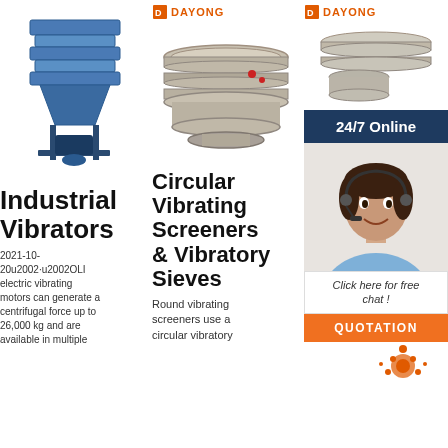[Figure (photo): Blue industrial vibrating machine with multiple deck screens on a metal stand]
Industrial Vibrators
2021-10-20u2002·u2002OLI electric vibrating motors can generate a centrifugal force up to 26,000 kg and are available in multiple
[Figure (photo): Circular vibrating screener with Dayong logo, stainless steel multi-deck round sieve machine]
Circular Vibrating Screeners & Vibratory Sieves
Round vibrating screeners use a circular vibratory
[Figure (photo): Vibrating sieve machine with Dayong logo, partially obscured by chat overlay]
Vi... Si... M... Best Price In India
Find here on the price details of companies selling Vibrating Sieve
[Figure (photo): Customer service agent woman with headset smiling, 24/7 Online chat overlay with Dayong brand]